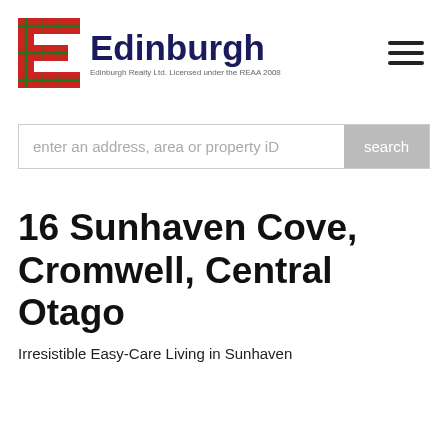[Figure (logo): Edinburgh Realty logo: red and green tartan letter E, beside bold dark blue Edinburgh wordmark and tagline 'Edinburgh Realty Ltd. Licensed under the REAA 2008']
[Figure (other): Hamburger menu icon with three horizontal bars]
enter an address, area or property iD
16 Sunhaven Cove, Cromwell, Central Otago
Irresistible Easy-Care Living in Sunhaven